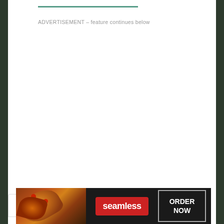ADVERTISEMENT – feature continues below
[Figure (other): Seamless food delivery advertisement banner with pizza image, Seamless logo in red badge, and ORDER NOW button]
[Figure (other): Collapse/chevron button UI element]